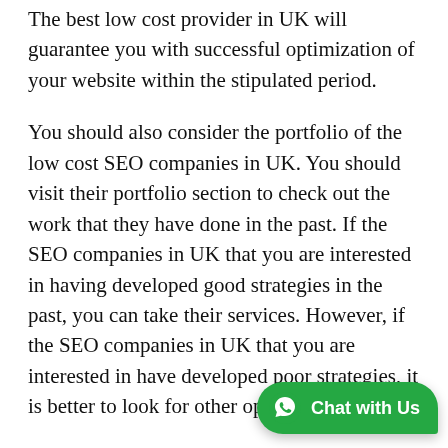The best low cost provider in UK will guarantee you with successful optimization of your website within the stipulated period.
You should also consider the portfolio of the low cost SEO companies in UK. You should visit their portfolio section to check out the work that they have done in the past. If the SEO companies in UK that you are interested in having developed good strategies in the past, you can take their services. However, if the SEO companies in UK that you are interested in have developed poor strategies, it is better to look for other options.
You should also consider the credibility of the SEO companies in UK. The best low cost providers in UK should be credible enough to convince you over the claims that they make in order to get your business. The reputation of the SEO companies in UK is something that...
[Figure (other): WhatsApp Chat with Us widget button in green at bottom right corner]